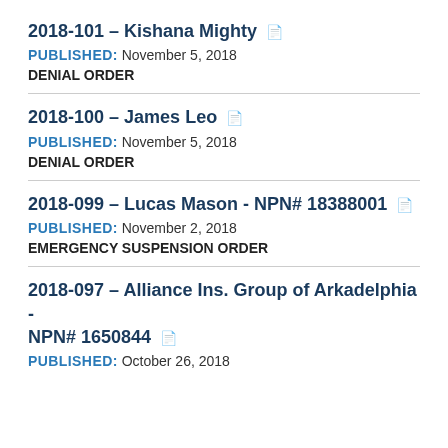2018-101 – Kishana Mighty
PUBLISHED: November 5, 2018
DENIAL ORDER
2018-100 – James Leo
PUBLISHED: November 5, 2018
DENIAL ORDER
2018-099 – Lucas Mason - NPN# 18388001
PUBLISHED: November 2, 2018
EMERGENCY SUSPENSION ORDER
2018-097 – Alliance Ins. Group of Arkadelphia - NPN# 1650844
PUBLISHED: October 26, 2018